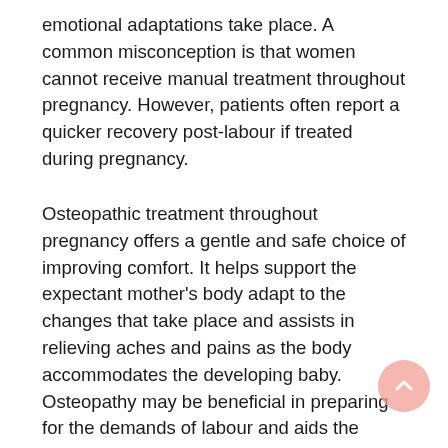emotional adaptations take place. A common misconception is that women cannot receive manual treatment throughout pregnancy. However, patients often report a quicker recovery post-labour if treated during pregnancy.
Osteopathic treatment throughout pregnancy offers a gentle and safe choice of improving comfort. It helps support the expectant mother's body adapt to the changes that take place and assists in relieving aches and pains as the body accommodates the developing baby. Osteopathy may be beneficial in preparing for the demands of labour and aids the mother's recovery after birth.
During pregnancy many morphological changes occur in every organ system and every tissue of the female body especially the reproductive system and